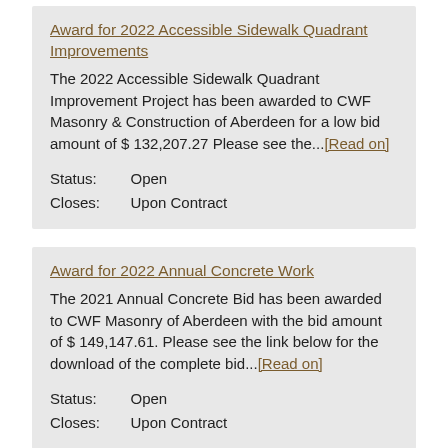Award for 2022 Accessible Sidewalk Quadrant Improvements
The 2022 Accessible Sidewalk Quadrant Improvement Project has been awarded to CWF Masonry & Construction of Aberdeen for a low bid amount of $ 132,207.27 Please see the...[Read on]
Status:   Open
Closes:   Upon Contract
Award for 2022 Annual Concrete Work
The 2021 Annual Concrete Bid has been awarded to CWF Masonry of Aberdeen with the bid amount of $ 149,147.61. Please see the link below for the download of the complete bid...[Read on]
Status:   Open
Closes:   Upon Contract
Award for 2022 Kline Street Reconstruction Project
The bid for the 2022 Kline Street Reconstruction